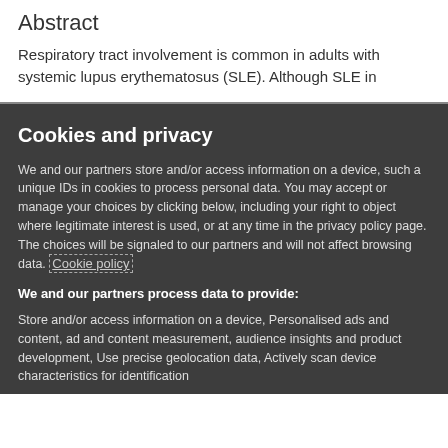Abstract
Respiratory tract involvement is common in adults with systemic lupus erythematosus (SLE). Although SLE in
Cookies and privacy
We and our partners store and/or access information on a device, such a unique IDs in cookies to process personal data. You may accept or manage your choices by clicking below, including your right to object where legitimate interest is used, or at any time in the privacy policy page. These choices will be signaled to our partners and will not affect browsing data. Cookie policy
We and our partners process data to provide:
Store and/or access information on a device, Personalised ads and content, ad and content measurement, audience insights and product development, Use precise geolocation data, Actively scan device characteristics for identification
List of Partners (vendors)
I Accept